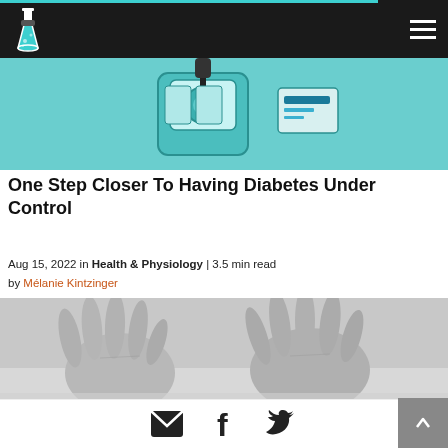Science website header with logo and hamburger menu
[Figure (illustration): Teal background illustration showing medical/lab equipment including a glucose monitor device]
One Step Closer To Having Diabetes Under Control
Aug 15, 2022 in Health & Physiology | 3.5 min read
by Mélanie Kintzinger
[Figure (photo): Black and white photograph of two aged hands pressed flat on a light surface]
Genetically Reprogramming Biological Clocks: One Step Closer To The Fountain Of Youth
Social share icons: email, facebook, twitter. Scroll to top button.